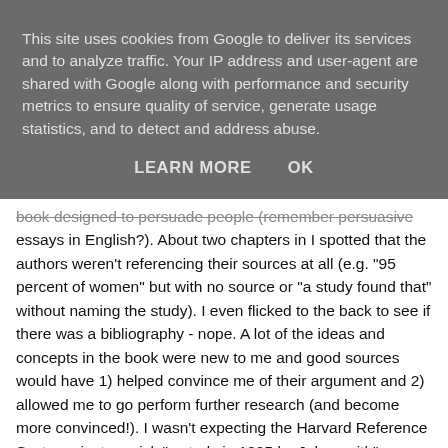This site uses cookies from Google to deliver its services and to analyze traffic. Your IP address and user-agent are shared with Google along with performance and security metrics to ensure quality of service, generate usage statistics, and to detect and address abuse.
LEARN MORE    OK
book designed to persuade people (remember persuasive essays in English?). About two chapters in I spotted that the authors weren't referencing their sources at all (e.g. "95 percent of women" but with no source or "a study found that" without naming the study). I even flicked to the back to see if there was a bibliography - nope. A lot of the ideas and concepts in the book were new to me and good sources would have 1) helped convince me of their argument and 2) allowed me to go perform further research (and become more convinced!). I wasn't expecting the Harvard Reference System...just a quick "a study in 1985 by John smith" (instead of 'a study') would have sufficed. (I was only a mild yes at the time of reading and this book didn't help budge me towards the strong yes I eventually became).